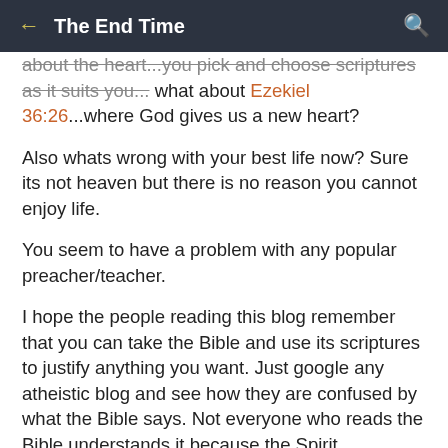← The End Time 🔍
about the heart...you pick and choose scriptures as it suits you... what about Ezekiel 36:26...where God gives us a new heart?

Also whats wrong with your best life now? Sure its not heaven but there is no reason you cannot enjoy life.

You seem to have a problem with any popular preacher/teacher.

I hope the people reading this blog remember that you can take the Bible and use its scriptures to justify anything you want. Just google any atheistic blog and see how they are confused by what the Bible says. Not everyone who reads the Bible understands it because the Spirit illuminates the scripture. And I think you are reading the Bible with no Spirit guiding you.
It is sad that non-believers look at us Christians and wonder why we are so divided